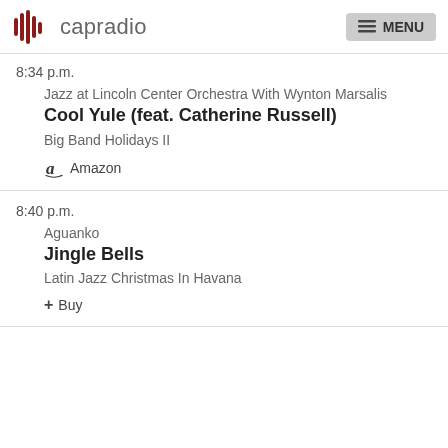capradio MENU
8:34 p.m.
Jazz at Lincoln Center Orchestra With Wynton Marsalis
Cool Yule (feat. Catherine Russell)
Big Band Holidays II
Amazon
8:40 p.m.
Aguanko
Jingle Bells
Latin Jazz Christmas In Havana
+ Buy